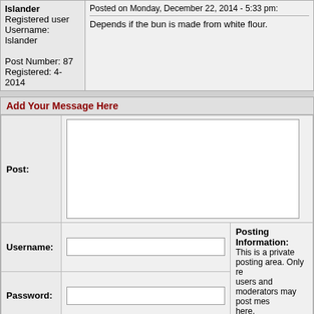| User | Post |
| --- | --- |
| Islander
Registered user
Username: Islander

Post Number: 87
Registered: 4-2014 | Posted on Monday, December 22, 2014 - 5:33 pm:
Depends if the bun is made from white flour. |
Add Your Message Here
| Field | Value |
| --- | --- |
| Post: | (textarea) |
| Username: | (text input) | Posting Information: This is a private posting area. Only registered users and moderators may post messages here. |
| Password: | (text input) |
| Options: | Enable HTML code in message
Automatically activate URLs in message |
| Action: | Preview/Post Message |
Topics | Last Day | Last Week | Tree View | Search | Help/Instructions | Administration
Program Credits